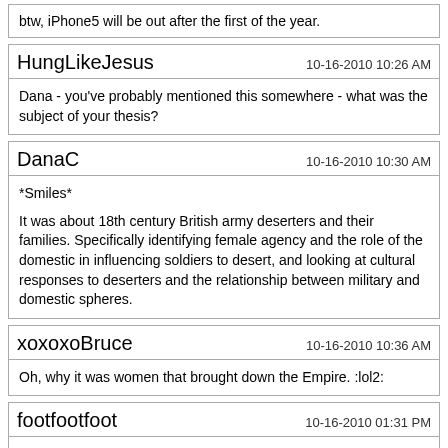btw, iPhone5 will be out after the first of the year.
HungLikeJesus
10-16-2010 10:26 AM
Dana - you've probably mentioned this somewhere - what was the subject of your thesis?
DanaC
10-16-2010 10:30 AM
*Smiles*
It was about 18th century British army deserters and their families. Specifically identifying female agency and the role of the domestic in influencing soldiers to desert, and looking at cultural responses to deserters and the relationship between military and domestic spheres.
xoxoxoBruce
10-16-2010 10:36 AM
Oh, why it was women that brought down the Empire. :lol2:
footfootfoot
10-16-2010 01:31 PM
Quote: